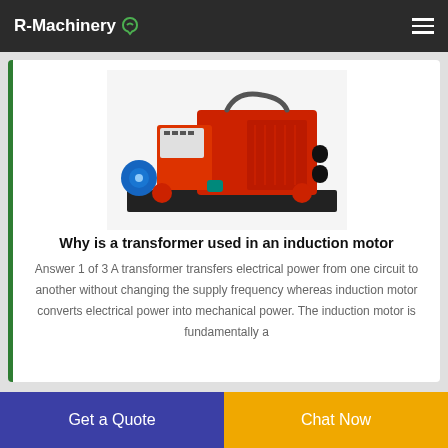R-Machinery
[Figure (photo): Industrial induction motor machine with red housing and mechanical components on a black base]
Why is a transformer used in an induction motor
Answer 1 of 3 A transformer transfers electrical power from one circuit to another without changing the supply frequency whereas induction motor converts electrical power into mechanical power. The induction motor is fundamentally a